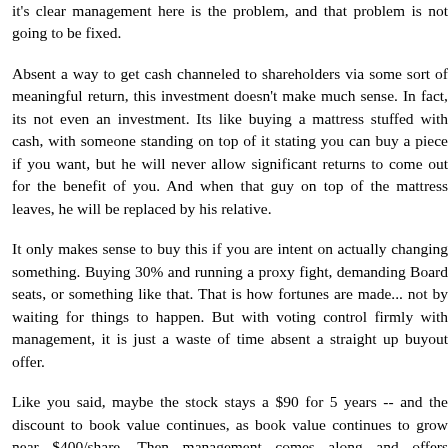it's clear management here is the problem, and that problem is not going to be fixed.
Absent a way to get cash channeled to shareholders via some sort of meaningful return, this investment doesn't make much sense. In fact, its not even an investment. Its like buying a mattress stuffed with cash, with someone standing on top of it stating you can buy a piece if you want, but he will never allow significant returns to come out for the benefit of you. And when that guy on top of the mattress leaves, he will be replaced by his relative.
It only makes sense to buy this if you are intent on actually changing something. Buying 30% and running a proxy fight, demanding Board seats, or something like that. That is how fortunes are made... not by waiting for things to happen. But with voting control firmly with management, it is just a waste of time absent a straight up buyout offer.
Like you said, maybe the stock stays a $90 for 5 years -- and the discount to book value continues, as book value continues to grow near $400/share. Then management comes along and offers $120/share for the rest of the